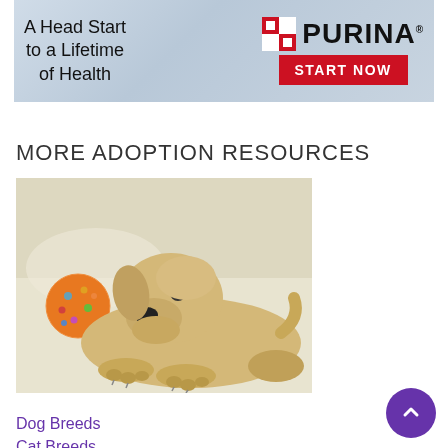[Figure (illustration): Purina advertisement banner with text 'A Head Start to a Lifetime of Health' on left, Purina logo with red/white checkerboard on right, and a red 'START NOW' button below the logo]
MORE ADOPTION RESOURCES
[Figure (photo): Yellow Labrador Retriever puppy lying on a cream-colored couch next to an orange polka-dot ball]
Dog Breeds
Cat Breeds